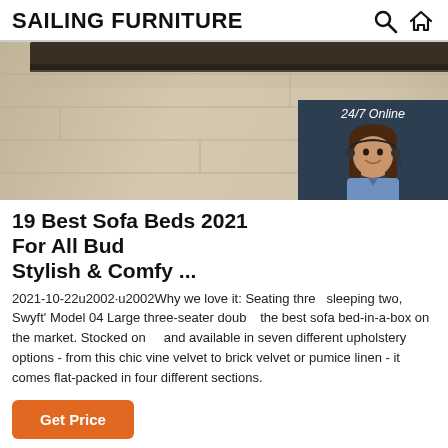SAILING FURNITURE
[Figure (photo): Hero image of a furniture/flooring scene showing wood floor and dark furniture edge, partially cropped]
[Figure (photo): 24/7 Online chat widget with a female customer service agent wearing headset, with 'Click here for free chat!' text and orange QUOTATION button]
19 Best Sofa Beds 2021 For All Bud Stylish & Comfy ...
2021-10-22u2002·u2002Why we love it: Seating three sleeping two, Swyft' Model 04 Large three-seater doub the best sofa bed-in-a-box on the market. Stocked on and available in seven different upholstery options - from this chic vine velvet to brick velvet or pumice linen - it comes flat-packed in four different sections.
Get Price